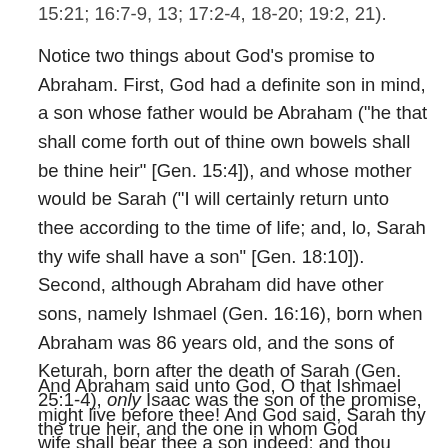15:21; 16:7-9, 13; 17:2-4, 18-20; 19:2, 21)
Notice two things about God’s promise to Abraham. First, God had a definite son in mind, a son whose father would be Abraham (“he that shall come forth out of thine own bowels shall be thine heir” [Gen. 15:4]), and whose mother would be Sarah (“I will certainly return unto thee according to the time of life; and, lo, Sarah thy wife shall have a son” [Gen. 18:10]). Second, although Abraham did have other sons, namely Ishmael (Gen. 16:16), born when Abraham was 86 years old, and the sons of Keturah, born after the death of Sarah (Gen. 25:1-4), only Isaac was the son of the promise, the true heir, and the one in whom God established his covenant:
And Abraham said unto God, O that Ishmael might live before thee! And God said, Sarah thy wife shall bear thee a son indeed; and thou shalt call his name Isaac; and I will